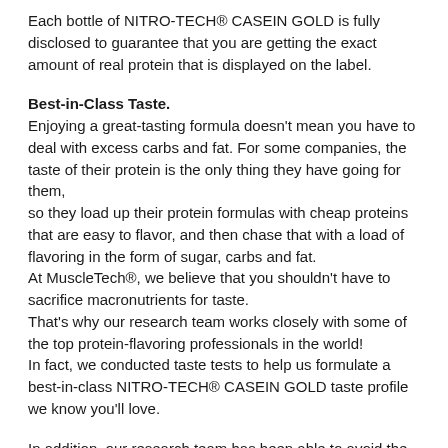Each bottle of NITRO-TECH® CASEIN GOLD is fully disclosed to guarantee that you are getting the exact amount of real protein that is displayed on the label.
Best-in-Class Taste.
Enjoying a great-tasting formula doesn't mean you have to deal with excess carbs and fat. For some companies, the taste of their protein is the only thing they have going for them,
so they load up their protein formulas with cheap proteins that are easy to flavor, and then chase that with a load of flavoring in the form of sugar, carbs and fat.
At MuscleTech®, we believe that you shouldn't have to sacrifice macronutrients for taste.
That's why our research team works closely with some of the top protein-flavoring professionals in the world!
In fact, we conducted taste tests to help us formulate a best-in-class NITRO-TECH® CASEIN GOLD taste profile we know you'll love.
In addition, our research team has been able to avoid the pitfalls of many casein products,